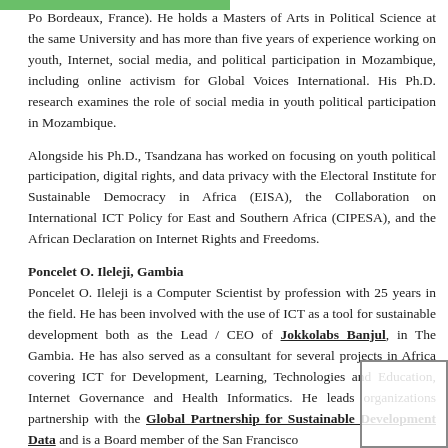Po Bordeaux, France). He holds a Masters of Arts in Political Science at the same University and has more than five years of experience working on youth, Internet, social media, and political participation in Mozambique, including online activism for Global Voices International. His Ph.D. research examines the role of social media in youth political participation in Mozambique.
Alongside his Ph.D., Tsandzana has worked on focusing on youth political participation, digital rights, and data privacy with the Electoral Institute for Sustainable Democracy in Africa (EISA), the Collaboration on International ICT Policy for East and Southern Africa (CIPESA), and the African Declaration on Internet Rights and Freedoms.
Poncelet O. Ileleji, Gambia
Poncelet O. Ileleji is a Computer Scientist by profession with 25 years in the field. He has been involved with the use of ICT as a tool for sustainable development both as the Lead / CEO of Jokkolabs Banjul, in The Gambia. He has also served as a consultant for several projects in Africa covering ICT for Development, Learning, Technologies and Education, Internet Governance and Health Informatics. He leads organizations partnership with the Global Partnership for Sustainable Development Data and is a Board member of the San Francisco